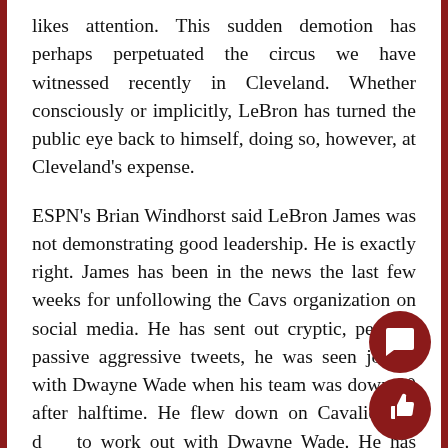likes attention. This sudden demotion has perhaps perpetuated the circus we have witnessed recently in Cleveland. Whether consciously or implicitly, LeBron has turned the public eye back to himself, doing so, however, at Cleveland's expense.
ESPN's Brian Windhorst said LeBron James was not demonstrating good leadership. He is exactly right. James has been in the news the last few weeks for unfollowing the Cavs organization on social media. He has sent out cryptic, perhaps passive aggressive tweets, he was seen joking with Dwayne Wade when his team was down 20 after halftime. He flew down on Cavalier off days to work out with Dwayne Wade. He has discussed the desire at the end of his career to team up with Wade, Carmelo Anthony, and Ch...